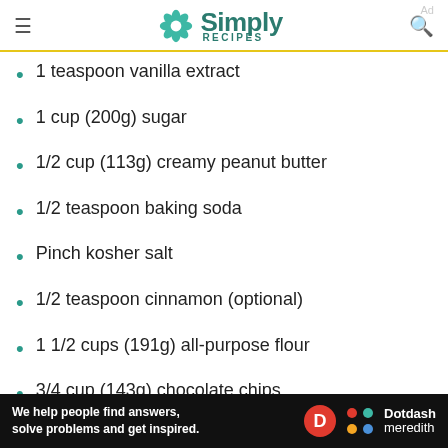Simply Recipes
1 teaspoon vanilla extract
1 cup (200g) sugar
1/2 cup (113g) creamy peanut butter
1/2 teaspoon baking soda
Pinch kosher salt
1/2 teaspoon cinnamon (optional)
1 1/2 cups (191g) all-purpose flour
3/4 cup (143g) chocolate chips
Create a List
Make a list for the store or order
[Figure (infographic): Dotdash Meredith advertisement banner with text: We help people find answers, solve problems and get inspired. Shows D logo in red circle and Dotdash Meredith logo.]